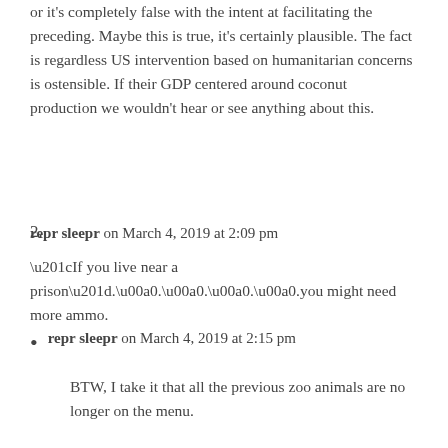or it's completely false with the intent at facilitating the preceding. Maybe this is true, it's certainly plausible. The fact is regardless US intervention based on humanitarian concerns is ostensible. If their GDP centered around coconut production we wouldn't hear or see anything about this.
2.
repr sleepr on March 4, 2019 at 2:09 pm
“If you live near a prison” . . . . .you might need more ammo.
repr sleepr on March 4, 2019 at 2:15 pm
BTW, I take it that all the previous zoo animals are no longer on the menu.